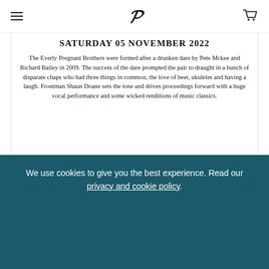Menu | Logo | Cart
SATURDAY 05 NOVEMBER 2022
The Everly Pregnant Brothers were formed after a drunken dare by Pete Mckee and Richard Bailey in 2009. The success of the dare prompted the pair to draught in a bunch of disparate chaps who had three things in common, the love of beer, ukuleles and having a laugh. Frontman Shaun Doane sets the tone and drives proceedings forward with a huge vocal performance and some wicked renditions of music classics.
£22.50
(+£1.10 Booking Fee)
Login to buy
We use cookies to give you the best experience. Read our privacy and cookie policy.